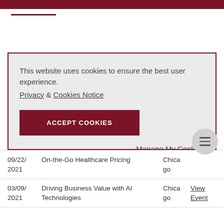This website uses cookies to ensure the best user experience.
Privacy & Cookies Notice
ACCEPT COOKIES
Manage My Cookies
| Date | Event | City | Action |
| --- | --- | --- | --- |
| 09/22/2021 | On-the-Go Healthcare Pricing | Chicago |  |
| 03/09/2021 | Driving Business Value with AI Technologies | Chicago | View Event |